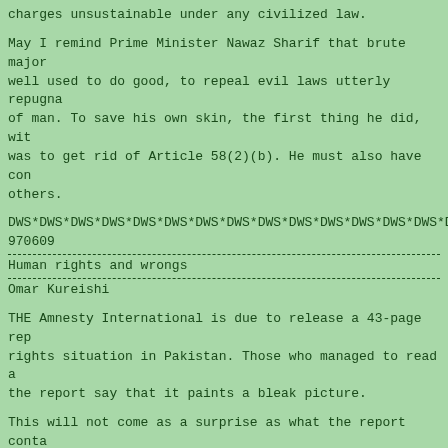charges unsustainable under any civilized law.
May I remind Prime Minister Nawaz Sharif that brute major well used to do good, to repeal evil laws utterly repugna of man. To save his own skin, the first thing he did, wit was to get rid of Article 58(2)(b). He must also have con others.
DWS*DWS*DWS*DWS*DWS*DWS*DWS*DWS*DWS*DWS*DWS*DWS*DWS*DWS*D
970609
Human rights and wrongs
Omar Kureishi
THE Amnesty International is due to release a 43-page rep rights situation in Pakistan. Those who managed to read a the report say that it paints a bleak picture.
This will not come as a surprise as what the report conta to us and the media in this country through news-items, w and human rights activists and men and women of compassio themselves hoarse without so much as making a dent.
We do not need the certificate of outsiders to confirm th violence prevails in Pakistan. Nor will it come as a surp learn that "torture, including rape, is widespread in Pak often intimidate and humiliate people in custody, beat, b electric shocks on detainees, hang them upside down and o food and shelter. Many people die as a result of torture